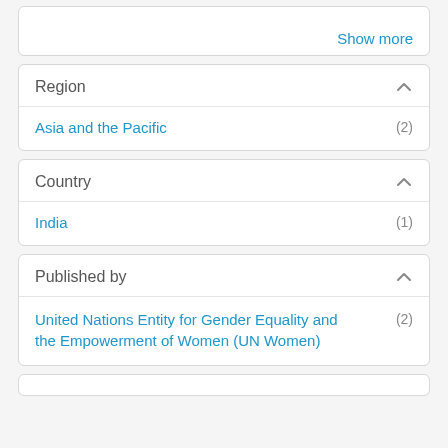Show more
Region
Asia and the Pacific (2)
Country
India (1)
Published by
United Nations Entity for Gender Equality and the Empowerment of Women (UN Women) (2)